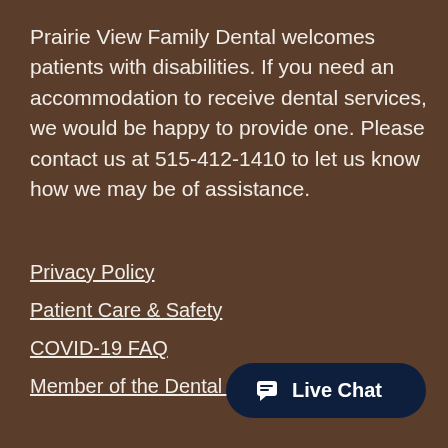Prairie View Family Dental welcomes patients with disabilities. If you need an accommodation to receive dental services, we would be happy to provide one. Please contact us at 515-412-1410 to let us know how we may be of assistance.
Privacy Policy
Patient Care & Safety
COVID-19 FAQ
Member of the Dental Health Society
Live Chat